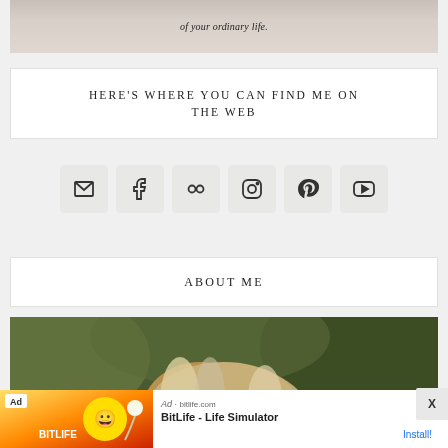[Figure (photo): Top portion of a photo with text 'of your ordinary life.' visible, muted tones]
HERE'S WHERE YOU CAN FIND ME ON THE WEB
[Figure (infographic): Row of 6 social media icon buttons: email, Facebook, Flickr, Instagram, Pinterest, YouTube]
ABOUT ME
[Figure (photo): Portrait photo of a woman with blonde highlighted hair, outdoors with bokeh background]
[Figure (other): Ad banner: BitLife - Life Simulator with Install button]